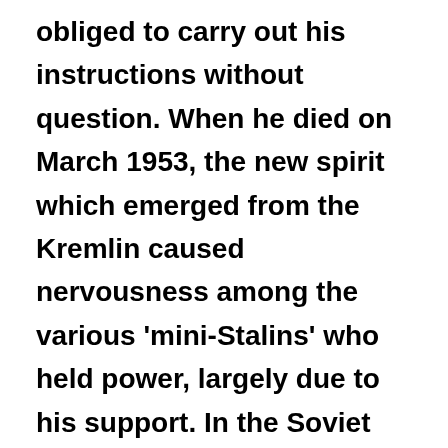obliged to carry out his instructions without question. When he died on March 1953, the new spirit which emerged from the Kremlin caused nervousness among the various 'mini-Stalins' who held power, largely due to his support. In the Soviet zone of Germany, control was in the hands of Walter Ulbricht, a hard-line Stalinist of the old school who had spent most of the era of the Third Reich in